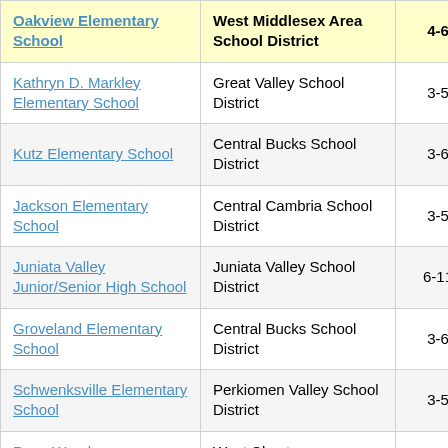| School | District | Grades | Score |
| --- | --- | --- | --- |
| Oakview Elementary School | West Middlesex Area School District | 4-6 | 3. |
| Kathryn D. Markley Elementary School | Great Valley School District | 3-5 | 3. |
| Kutz Elementary School | Central Bucks School District | 3-6 | 2. |
| Jackson Elementary School | Central Cambria School District | 3-5 | 5. |
| Juniata Valley Junior/Senior High School | Juniata Valley School District | 6-11 | 2. |
| Groveland Elementary School | Central Bucks School District | 3-6 | 2. |
| Schwenksville Elementary School | Perkiomen Valley School District | 3-5 | 3. |
| Penn Wood | West Chester |  |  |